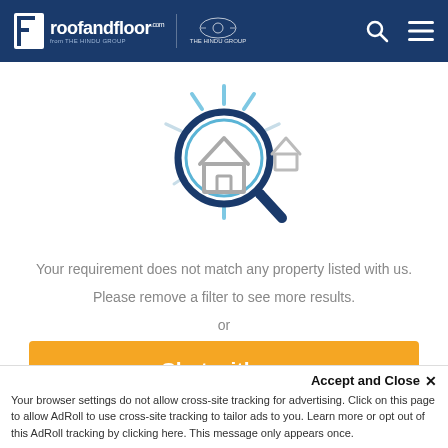roofandfloor.com | THE HINDU GROUP
[Figure (illustration): Magnifying glass with a house icon inside, with light rays suggesting search, on white background]
Your requirement does not match any property listed with us.
Please remove a filter to see more results.
or
Chat with us
Accept and Close ✕
Your browser settings do not allow cross-site tracking for advertising. Click on this page to allow AdRoll to use cross-site tracking to tailor ads to you. Learn more or opt out of this AdRoll tracking by clicking here. This message only appears once.
Recommended For You